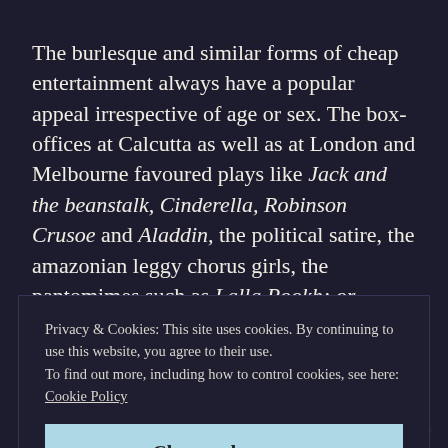The burlesque and similar forms of cheap entertainment always have a popular appeal irrespective of age or sex. The box-offices at Calcutta as well as at London and Melbourne favoured plays like Jack and the beanstalk, Cinderella, Robinson Crusoe and Aladdin, the political satire, the amazonian leggy chorus girls, the pantomimes such as Lalla Rookh; or The Princess, The Peri and the Troubadour, and Jack the...
Privacy & Cookies: This site uses cookies. By continuing to use this website, you agree to their use.
To find out more, including how to control cookies, see here: Cookie Policy
Close and accept